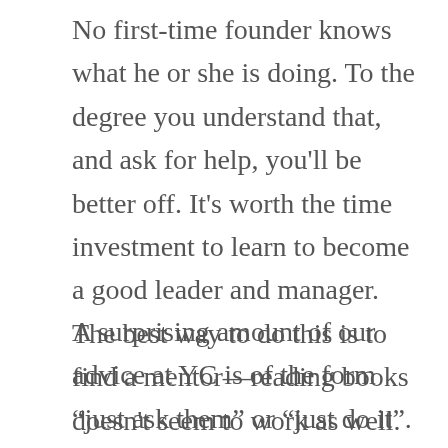No first-time founder knows what he or she is doing. To the degree you understand that, and ask for help, you'll be better off. It's worth the time investment to learn to become a good leader and manager. The best way to do this is to find a mentor—reading books doesn't seem to work as well.
A surprising amount of our advice at YC is of the form “just ask them” or “just do it”. First-time founders think there must be some secret for when you need something from someone or you want to do some new thing. But again, startups are where tricks stop working. Just be direct, be willing to ask for what you want, and be direct.